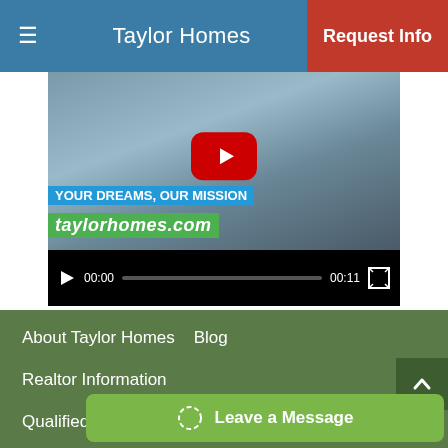Taylor Homes | Request Info
[Figure (screenshot): YouTube video player showing a Taylor Homes promotional video with text 'YOUR DREAMS, OUR MISSION' and 'taylorhomes.com'. Controls show 00:00 current time and 00:11 total duration.]
About Taylor Homes   Blog
Realtor Information
Qualified & Quality Subcontractors Needed
Internet Special   Taylor Team Opportunities
Contact Us   Site M...
Leave a Message